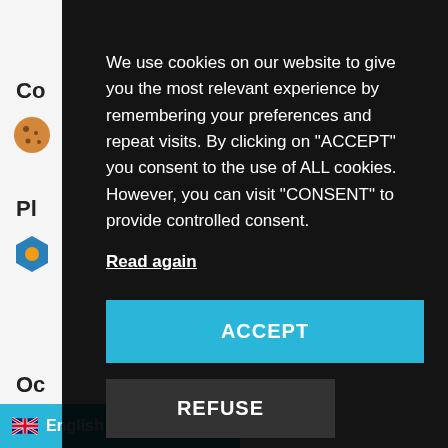[Figure (screenshot): Website background partially visible with navigation elements, icons, and text labels (Co, Pl, Oc, Op) on a light grey background]
We use cookies on our website to give you the most relevant experience by remembering your preferences and repeat visits. By clicking on "ACCEPT" you consent to the use of ALL cookies. However, you can visit "CONSENT" to provide controlled consent.
Read again
ACCEPT
REFUSE
English